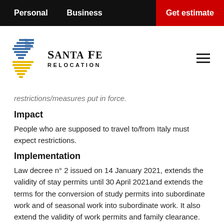Personal   Business   Get estimate
[Figure (logo): Santa Fe Relocation logo with stylized arrow/flag icon in blue and yellow, and text 'SANTA FE RELOCATION']
restrictions/measures put in force.
Impact
People who are supposed to travel to/from Italy must expect restrictions.
Implementation
Law decree n° 2 issued on 14 January 2021, extends the validity of stay permits until 30 April 2021and extends the terms for the conversion of study permits into subordinate work and of seasonal work into subordinate work. It also extend the validity of work permits and family clearance.